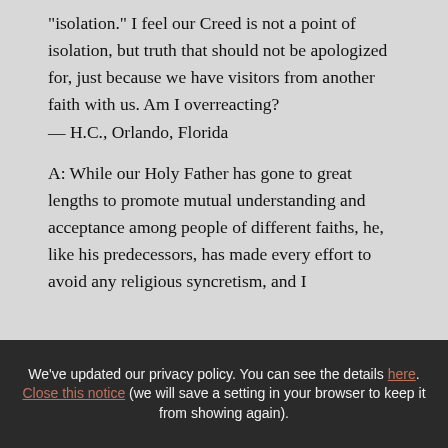"isolation." I feel our Creed is not a point of isolation, but truth that should not be apologized for, just because we have visitors from another faith with us. Am I overreacting? — H.C., Orlando, Florida
A: While our Holy Father has gone to great lengths to promote mutual understanding and acceptance among people of different faiths, he, like his predecessors, has made every effort to avoid any religious syncretism, and I
We've updated our privacy policy. You can see the details here. Close this notice (we will save a setting in your browser to keep it from showing again).